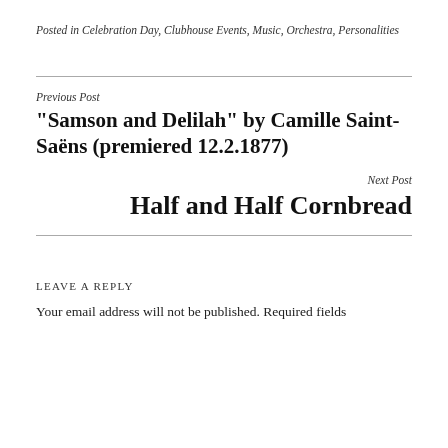Posted in Celebration Day, Clubhouse Events, Music, Orchestra, Personalities
Previous Post
“Samson and Delilah” by Camille Saint-Saëns (premiered 12.2.1877)
Next Post
Half and Half Cornbread
Leave a Reply
Your email address will not be published. Required fields